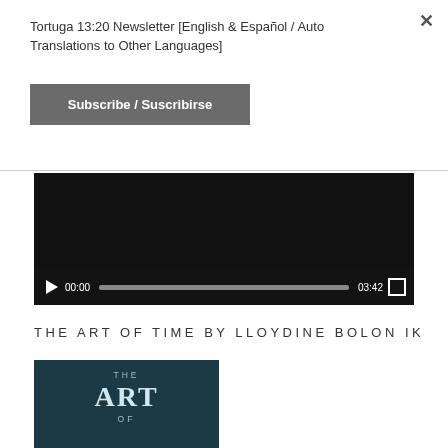Tortuga 13:20 Newsletter [English & Español / Auto Translations to Other Languages]
Subscribe / Suscribirse
[Figure (screenshot): Video player with black background, play button, progress bar showing 00:00 / 03:42, and fullscreen button]
THE ART OF TIME BY LLOYDINE BOLON IK
[Figure (photo): Book cover image with dark teal background showing text THE ART OF (partial)]